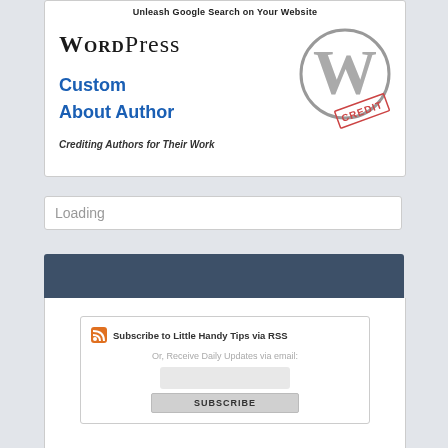[Figure (screenshot): WordPress Custom About Author plugin book cover with WordPress logo text, blue 'Custom About Author' text, italic 'Crediting Authors for Their Work' tagline, WordPress circle logo with W, and a red CREDIT stamp overlay]
Loading
[Figure (screenshot): Dark blue-gray header bar, part of a website sidebar widget]
[Figure (screenshot): RSS subscribe widget box with orange RSS icon, 'Subscribe to Little Handy Tips via RSS' text, 'Or, Receive Daily Updates via email:' label, email input field, and SUBSCRIBE button]